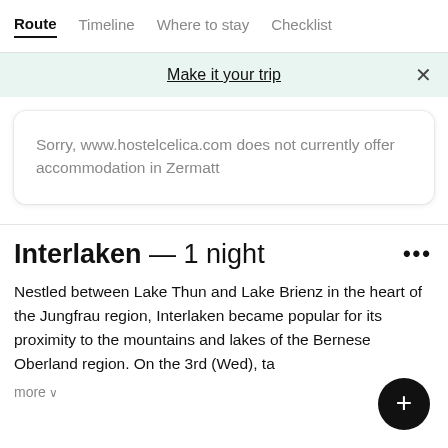Route  Timeline  Where to stay  Checklist
Make it your trip
Sorry, www.hostelcelica.com does not currently offer accommodation in Zermatt
Interlaken — 1 night
Nestled between Lake Thun and Lake Brienz in the heart of the Jungfrau region, Interlaken became popular for its proximity to the mountains and lakes of the Bernese Oberland region. On the 3rd (Wed), ta
more